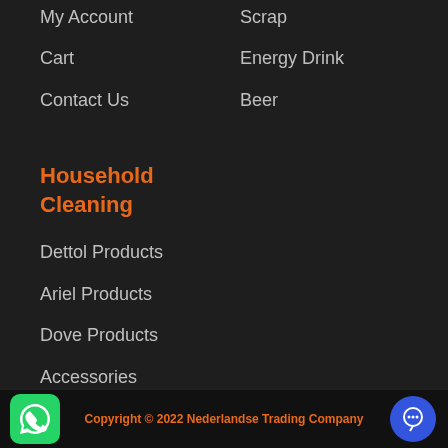My Account
Scrap
Cart
Energy Drink
Contact Us
Beer
Household Cleaning
Dettol Products
Ariel Products
Dove Products
Accessories
Others
Copyright © 2022 Nederlandse Trading Company